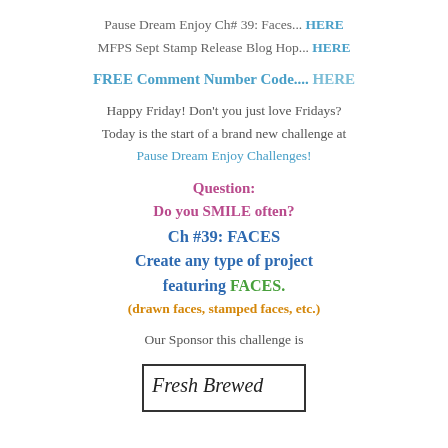Pause Dream Enjoy Ch# 39: Faces... HERE
MFPS Sept Stamp Release Blog Hop... HERE
FREE Comment Number Code.... HERE
Happy Friday! Don't you just love Fridays? Today is the start of a brand new challenge at Pause Dream Enjoy Challenges!
Question:
Do you SMILE often?
Ch #39: FACES
Create any type of project featuring FACES.
(drawn faces, stamped faces, etc.)
Our Sponsor this challenge is
[Figure (logo): Fresh Brewed logo in a bordered box with script text]